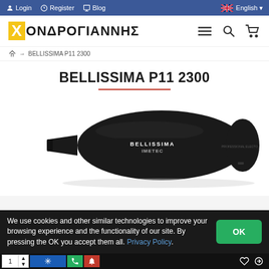Login | Register | Blog | English
[Figure (logo): Χονδρογιάννης retailer logo with yellow X and Greek text, plus hamburger menu, search and cart icons]
→ BELLISSIMA P11 2300
BELLISSIMA P11 2300
[Figure (photo): Black Bellissima P11 2300 hair dryer with Imetec branding on white background]
We use cookies and other similar technologies to improve your browsing experience and the functionality of our site. By pressing the OK you accept them all. Privacy Policy.